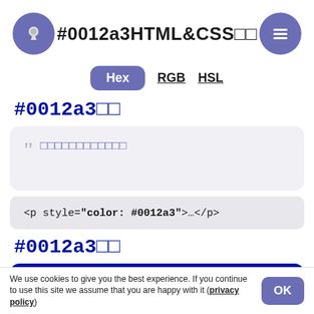#0012a3HTML&CSS□□
Hex  RGB  HSL
#0012a3□□
□□□□□□□□□□□□
<p style="color: #0012a3">…</p>
#0012a3□□
□□□□□□□□
We use cookies to give you the best experience. If you continue to use this site we assume that you are happy with it (privacy policy)